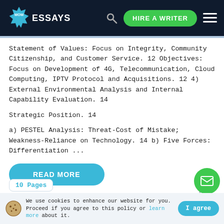[Figure (logo): WOW Essays logo with burst/star shape in navy header bar, with search icon, HIRE A WRITER green button, and hamburger menu]
Statement of Values: Focus on Integrity, Community Citizenship, and Customer Service. 12 Objectives: Focus on Development of 4G, Telecommunication, Cloud Computing, IPTV Protocol and Acquisitions. 12 4) External Environmental Analysis and Internal Capability Evaluation. 14
Strategic Position. 14
a) PESTEL Analysis: Threat-Cost of Mistake; Weakness-Reliance on Technology. 14 b) Five Forces: Differentiation ...
[Figure (other): READ MORE button in cyan/teal rounded pill shape]
[Figure (other): Up arrow chevron icon on right side]
[Figure (other): Partial 10 Pages badge at bottom left]
[Figure (other): Green circular mail/envelope button at bottom right]
We use cookies to enhance our website for you. Proceed if you agree to this policy or learn more about it.